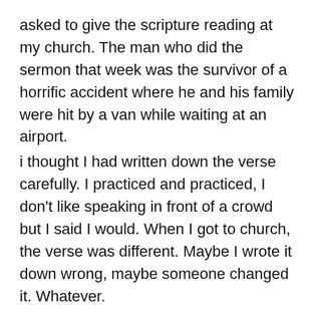asked to give the scripture reading at my church. The man who did the sermon that week was the survivor of a horrific accident where he and his family were hit by a van while waiting at an airport.
i thought I had written down the verse carefully. I practiced and practiced, I don't like speaking in front of a crowd but I said I would. When I got to church, the verse was different. Maybe I wrote it down wrong, maybe someone changed it. Whatever.
This verse has come to have so much meaning in my life. When I saw at a book called A Musician's Book of Psalms each day had a different psalm. On my birthday, there was “my” psalm so I had to buy this book!
Psalm 116 (New International Version)
1 I love the LORD, for he heard my voice;
he heard my cry for mercy.